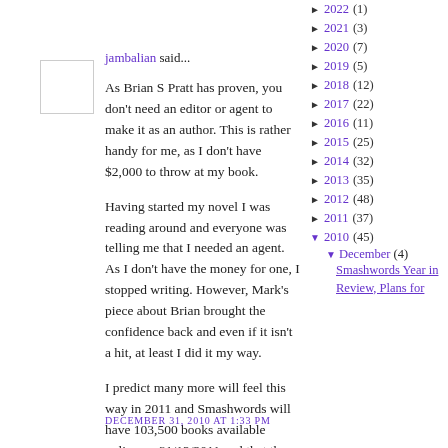jambalian said...
As Brian S Pratt has proven, you don't need an editor or agent to make it as an author. This is rather handy for me, as I don't have $2,000 to throw at my book.
Having started my novel I was reading around and everyone was telling me that I needed an agent. As I don't have the money for one, I stopped writing. However, Mark's piece about Brian brought the confidence back and even if it isn't a hit, at least I did it my way.
I predict many more will feel this way in 2011 and Smashwords will have 103,500 books available online on 31/12/2011 and that there will be 34,000 authors. Word count will hit the 5 billion mark, too.
DECEMBER 31, 2010 AT 1:33 PM
► 2022 (1)
► 2021 (3)
► 2020 (7)
► 2019 (5)
► 2018 (12)
► 2017 (22)
► 2016 (11)
► 2015 (25)
► 2014 (32)
► 2013 (35)
► 2012 (48)
► 2011 (37)
▼ 2010 (45)
▼ December (4)
Smashwords Year in Review, Plans for